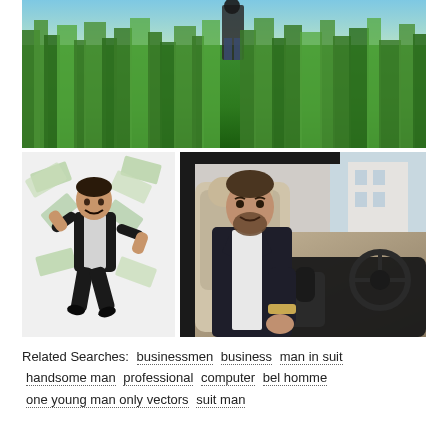[Figure (photo): Outdoor photo of a man in jeans and dark shirt standing/walking in a lush green wheat or grass field under a clear sky, viewed from ground level with tall green stalks in foreground]
[Figure (photo): Man in black suit jumping joyfully with banknotes/money flying around him on white background]
[Figure (photo): Handsome bearded man in dark suit sitting in a luxury car interior, smiling and holding the gear shift, with a white building visible through the convertible window]
Related Searches:    businessmen  business  man in suit  handsome man  professional  computer  bel homme  one young man only vectors  suit man